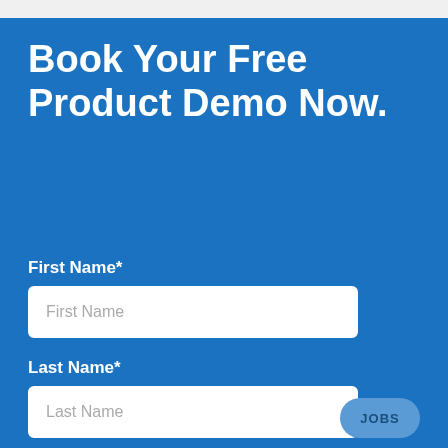Book Your Free Product Demo Now.
First Name*
First Name
Last Name*
Last Name
JOBS